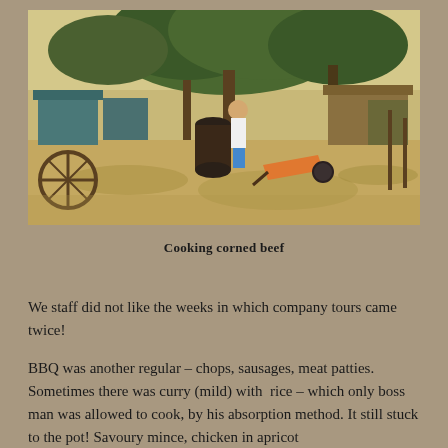[Figure (photo): Outdoor camp scene with dry sandy ground, large trees providing shade, tents or shelters visible in background, a person in a white top standing near a large barrel/drum, a wheelbarrow nearby, and rustic camp furniture including what appears to be wagon wheels on the left.]
Cooking corned beef
We staff did not like the weeks in which company tours came twice!
BBQ was another regular – chops, sausages, meat patties. Sometimes there was curry (mild) with  rice – which only boss man was allowed to cook, by his absorption method. It still stuck to the pot! Savoury mince, chicken in apricot